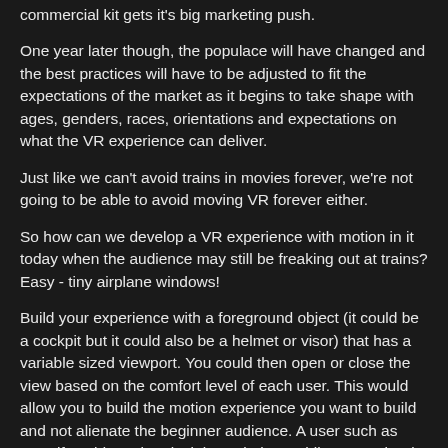commercial kit gets it's big marketing push.
One year later though, the populace will have changed and the best practices will have to be adjusted to fit the expectations of the market as it begins to take shape with ages, genders, races, orientations and expectations on what the VR experience can deliver.
Just like we can't avoid trains in movies forever, we're not going to be able to avoid moving VR forever either.
So how can we develop a VR experience with motion in it today when the audience may still be freaking out at trains?  Easy - tiny airplane windows!
Build your experience with a foreground object (it could be a cockpit but it could also be a helmet or visor) that has a variable sized viewport.  You could then open or close the view based on the comfort level of each user.  This would allow you to build the motion experience you want to build and not alienate the beginner audience.  A user such as myself could get the plexiglass airplane while my mother in